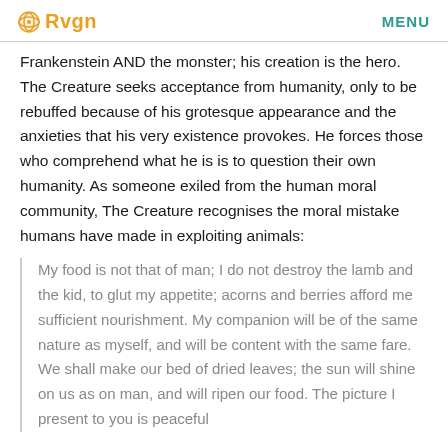Rvgn   MENU
Frankenstein AND the monster; his creation is the hero. The Creature seeks acceptance from humanity, only to be rebuffed because of his grotesque appearance and the anxieties that his very existence provokes. He forces those who comprehend what he is is to question their own humanity. As someone exiled from the human moral community, The Creature recognises the moral mistake humans have made in exploiting animals:
My food is not that of man; I do not destroy the lamb and the kid, to glut my appetite; acorns and berries afford me sufficient nourishment. My companion will be of the same nature as myself, and will be content with the same fare. We shall make our bed of dried leaves; the sun will shine on us as on man, and will ripen our food. The picture I present to you is peaceful